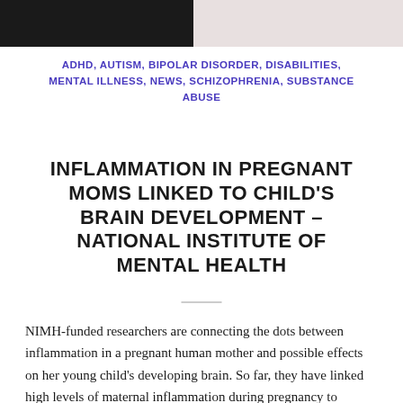[Figure (photo): Partial photo strip at the top of the page showing a dark-haired figure on the left half and a light/skin-toned background on the right half.]
ADHD, AUTISM, BIPOLAR DISORDER, DISABILITIES, MENTAL ILLNESS, NEWS, SCHIZOPHRENIA, SUBSTANCE ABUSE
INFLAMMATION IN PREGNANT MOMS LINKED TO CHILD'S BRAIN DEVELOPMENT – NATIONAL INSTITUTE OF MENTAL HEALTH
NIMH-funded researchers are connecting the dots between inflammation in a pregnant human mother and possible effects on her young child's developing brain. So far, they have linked high levels of maternal inflammation during pregnancy to reduced...